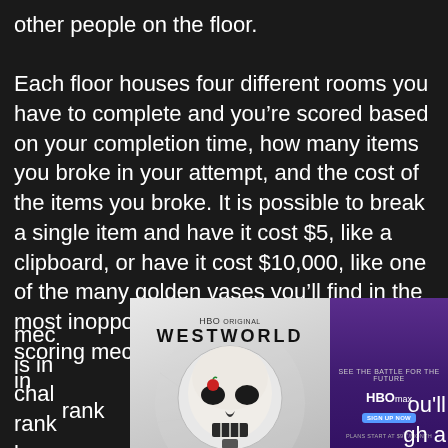other people on the floor.

Each floor houses four different rooms you have to complete and you’re scored based on your completion time, how many items you broke in your attempt, and the cost of the items you broke. It is possible to break a single item and have it cost $5, like a clipboard, or have it cost $10,000, like one of the many golden vases you’ll find in the most inopportune locations. It seems the scoring mec[hanism]... [compe]ting is in... [throu]gh a chall[enge]... rank[ing]... [y]ou’ll be a[ble to]...
[Figure (screenshot): Westworld HBO Max advertisement overlay showing a skull held by a robotic hand on a light gray background (left panel) and a dark purple right panel with text 'SEE THE BATTLE FOR THE FUTURE', 'HBO max' logo, 'SIGN UP NOW' button, 'PLANS START AT $9.99/MONTH', and a close (X) button in the bottom right corner.]